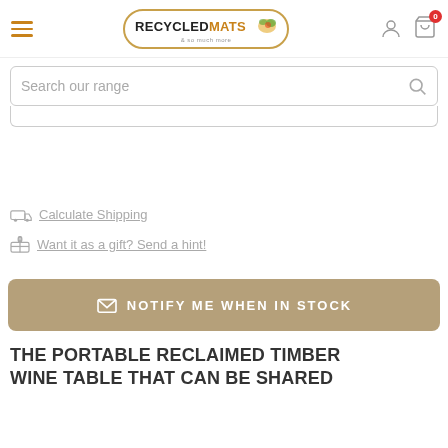[Figure (logo): RecycledMats logo with orange and green illustration inside oval border]
Search our range
Calculate Shipping
Want it as a gift? Send a hint!
NOTIFY ME WHEN IN STOCK
THE PORTABLE RECLAIMED TIMBER WINE TABLE THAT CAN BE SHARED